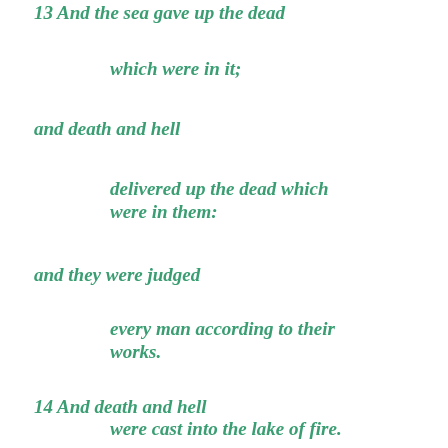13 And the sea gave up the dead
which were in it;
and death and hell
delivered up the dead which were in them:
and they were judged
every man according to their works.
14 And death and hell
were cast into the lake of fire.